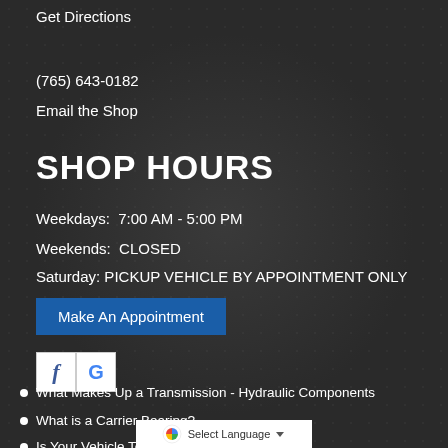Get Directions
(765) 643-0182
Email the Shop
SHOP HOURS
Weekdays:  7:00 AM - 5:00 PM
Weekends:  CLOSED
Saturday: PICKUP VEHICLE BY APPOINTMENT ONLY
Make An Appointment
[Figure (logo): Facebook and Google social media icons]
What Makes Up a Transmission - Hydraulic Components
What is a Carrier Bearing?
Is Your Vehicle Too Noisy?
[Figure (screenshot): Google Select Language widget at bottom]